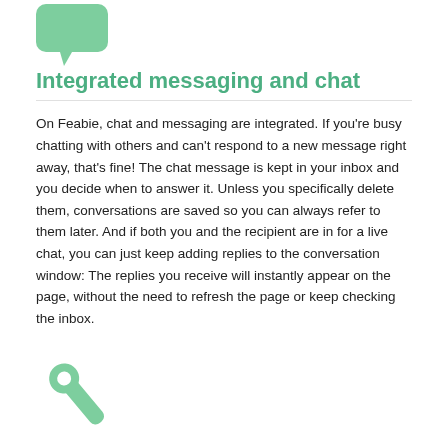[Figure (illustration): Green speech bubble / chat icon at top left]
Integrated messaging and chat
On Feabie, chat and messaging are integrated. If you're busy chatting with others and can't respond to a new message right away, that's fine! The chat message is kept in your inbox and you decide when to answer it. Unless you specifically delete them, conversations are saved so you can always refer to them later. And if both you and the recipient are in for a live chat, you can just keep adding replies to the conversation window: The replies you receive will instantly appear on the page, without the need to refresh the page or keep checking the inbox.
[Figure (illustration): Green wrench / settings icon]
A customized site experience
Beyond the newsfeed, the My Type filter allows members to customize what types of members show up in a variety of quicklists, including